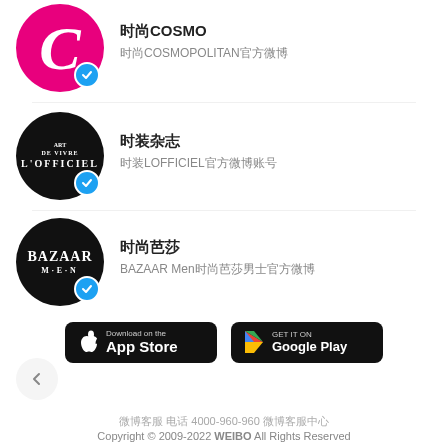[Figure (logo): COSMO pink circle logo with white C letter and verified badge]
时尚COSMO
时尚COSMOPOLITAN官方微博
[Figure (logo): L'Officiel black circle logo with white text and verified badge]
时装杂志
时装LOFFICIEL官方微博账号
[Figure (logo): BAZAAR MEN black circle logo with white text and verified badge]
时尚芭莎
BAZAAR Men时尚芭莎男士官方微博
[Figure (screenshot): App Store and Google Play download buttons]
微博客服 电话 4000-960-960 微博客服中心
Copyright © 2009-2022 WEIBO All Rights Reserved